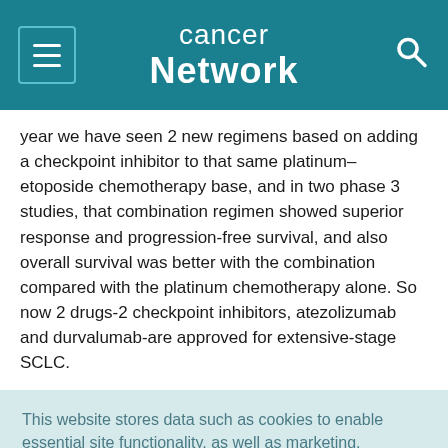Cancer Network
year we have seen 2 new regimens based on adding a checkpoint inhibitor to that same platinum–etoposide chemotherapy base, and in two phase 3 studies, that combination regimen showed superior response and progression-free survival, and also overall survival was better with the combination compared with the platinum chemotherapy alone. So now 2 drugs-2 checkpoint inhibitors, atezolizumab and durvalumab-are approved for extensive-stage SCLC.
This website stores data such as cookies to enable essential site functionality, as well as marketing, personalization, and analytics. Cookie Policy
Accept
Deny